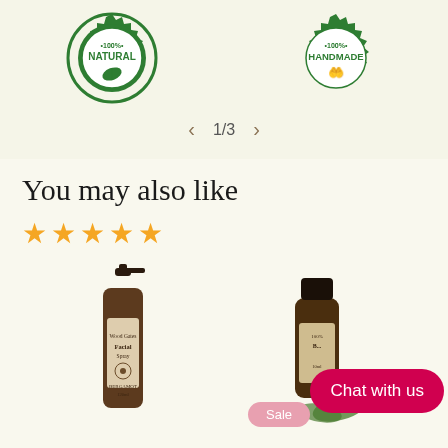[Figure (illustration): Two circular badge seals: left badge reads '100% NATURAL' in green with leaf icon, right badge reads '100% HANDMADE' in green with hands icon]
< 1/3 >
You may also like
[Figure (illustration): Five gold/yellow star rating icons in a row]
[Figure (photo): Amber spray bottle labeled 'Facial Spray Bergamot' with black cap]
[Figure (photo): Small amber essential oil bottle with black cap and botanical leaves, with a red 'Chat with us' chat bubble overlay and a pink 'Sale' badge]
Chat with us
Sale